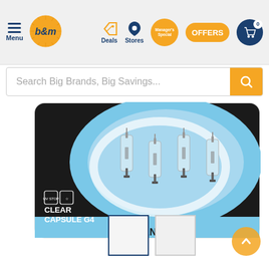B&M store website header navigation with Menu, logo, Deals, Stores, Manager's Special, OFFERS, and cart icons
Search Big Brands, Big Savings...
[Figure (photo): Product photo of Clear Capsule G4 Halogen Bulb 4-pack on packaging with blue and black background. Text on package: CLEAR CAPSULE G4, HALOGEN BULB]
[Figure (photo): Thumbnail image 1 (active, blue border) of the halogen bulb product]
[Figure (photo): Thumbnail image 2 (inactive) of the halogen bulb product]